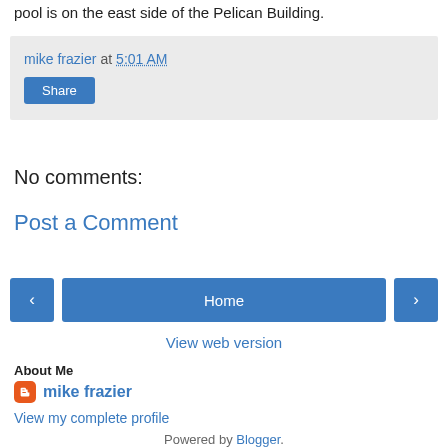pool is on the east side of the Pelican Building.
mike frazier at 5:01 AM
Share
No comments:
Post a Comment
‹ Home ›
View web version
About Me
mike frazier
View my complete profile
Powered by Blogger.